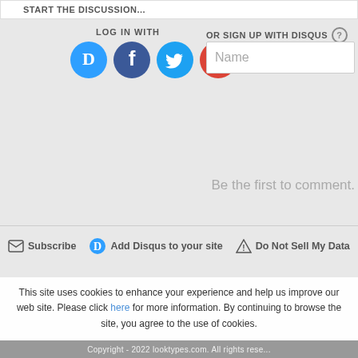START THE DISCUSSION...
LOG IN WITH
[Figure (screenshot): Social login icons: Disqus (blue circle with D), Facebook (dark blue circle with f), Twitter (light blue circle with bird), Google (red circle with G)]
OR SIGN UP WITH DISQUS ?
Name
Be the first to comment.
Subscribe | Add Disqus to your site | Do Not Sell My Data
This site uses cookies to enhance your experience and help us improve our web site. Please click here for more information. By continuing to browse the site, you agree to the use of cookies.
Copyright - 2022 looktypes.com. All rights reserved.